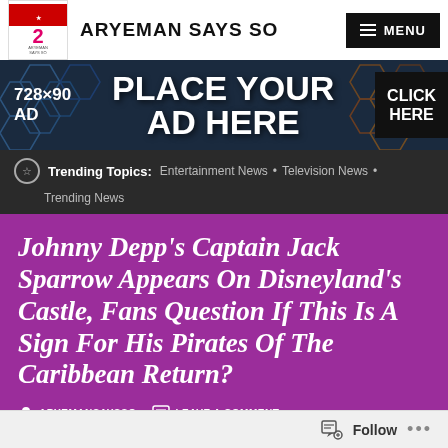ARYEMAN SAYS SO
[Figure (infographic): 728x90 AD - PLACE YOUR AD HERE - CLICK HERE banner advertisement with hexagonal dark blue background pattern]
Trending Topics: Entertainment News • Television News • Trending News
Johnny Depp's Captain Jack Sparrow Appears On Disneyland's Castle, Fans Question If This Is A Sign For His Pirates Of The Caribbean Return?
ARYEMANSAYSSO   LEAVE A COMMENT
[Figure (photo): Partial photo of a person, appears to be Johnny Depp as Captain Jack Sparrow]
Follow ...